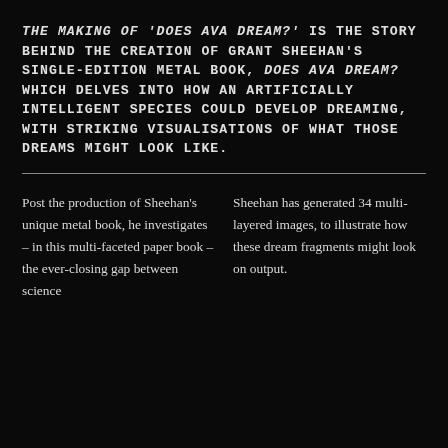THE MAKING OF 'DOES AVA DREAM?' IS THE STORY BEHIND THE CREATION OF GRANT SHEEHAN'S SINGLE-EDITION METAL BOOK, DOES AVA DREAM? WHICH DELVES INTO HOW AN ARTIFICIALLY INTELLIGENT SPECIES COULD DEVELOP DREAMING, WITH STRIKING VISUALISATIONS OF WHAT THOSE DREAMS MIGHT LOOK LIKE.
Post the production of Sheehan's unique metal book, he investigates – in this multi-faceted paper book – the ever-closing gap between science
Sheehan has generated 34 multi-layered images, to illustrate how these dream fragments might look on output.